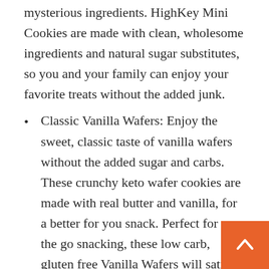mysterious ingredients. HighKey Mini Cookies are made with clean, wholesome ingredients and natural sugar substitutes, so you and your family can enjoy your favorite treats without the added junk.
Classic Vanilla Wafers: Enjoy the sweet, classic taste of vanilla wafers without the added sugar and carbs. These crunchy keto wafer cookies are made with real butter and vanilla, for a better for you snack. Perfect for on the go snacking, these low carb, gluten free Vanilla Wafers will satisfy your cravings without weighing you down. And unlike your childhood favorite, HighKey cookies are made with zero added sugar – so you can finally enjoy your favorite sweets without the